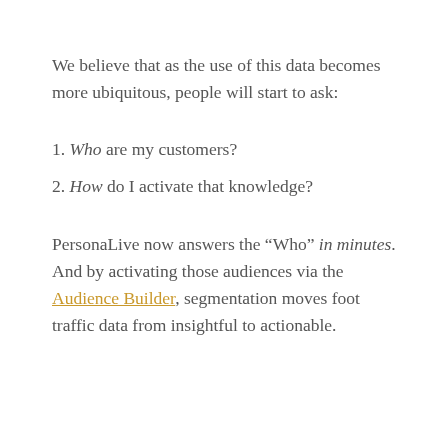We believe that as the use of this data becomes more ubiquitous, people will start to ask:
1. Who are my customers?
2. How do I activate that knowledge?
PersonaLive now answers the “Who” in minutes. And by activating those audiences via the Audience Builder, segmentation moves foot traffic data from insightful to actionable.